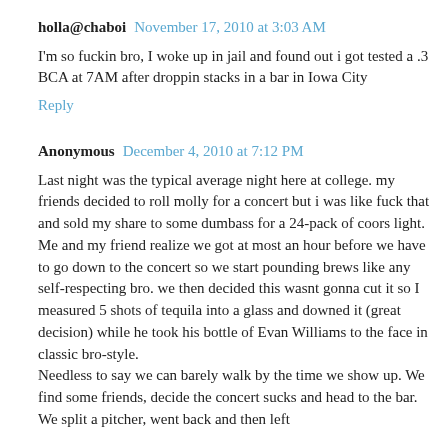holla@chaboi  November 17, 2010 at 3:03 AM
I'm so fuckin bro, I woke up in jail and found out i got tested a .3 BCA at 7AM after droppin stacks in a bar in Iowa City
Reply
Anonymous  December 4, 2010 at 7:12 PM
Last night was the typical average night here at college. my friends decided to roll molly for a concert but i was like fuck that and sold my share to some dumbass for a 24-pack of coors light.
Me and my friend realize we got at most an hour before we have to go down to the concert so we start pounding brews like any self-respecting bro. we then decided this wasnt gonna cut it so I measured 5 shots of tequila into a glass and downed it (great decision) while he took his bottle of Evan Williams to the face in classic bro-style.
Needless to say we can barely walk by the time we show up. We find some friends, decide the concert sucks and head to the bar. We split a pitcher, went back and then left